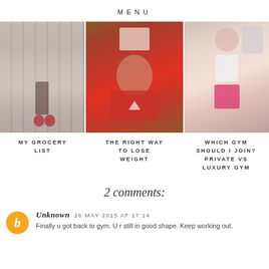MENU
[Figure (photo): Three photos side by side: left shows a woman from behind pushing a shopping cart in a grocery store; middle shows a young woman resting her chin on crossed arms over a red laptop; right shows a woman in white sports bra and pink shorts taking a mirror selfie at a gym.]
MY GROCERY LIST
THE RIGHT WAY TO LOSE WEIGHT
WHICH GYM SHOULD I JOIN? PRIVATE VS LUXURY GYM
2 comments:
Unknown 26 MAY 2015 AT 17:14
Finally u got back to gym. U r still in good shape. Keep working out.